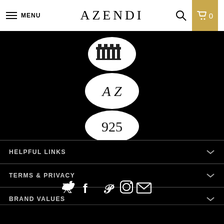MENU | AZENDI | search | cart 0
[Figure (logo): Three hallmark stamps stacked vertically on black background: a crown/lion passant stamp at top, an 'AZ' oval stamp in middle, and a '925' oval stamp at bottom]
HELPFUL LINKS
TERMS & PRIVACY
BRAND VALUES
[Figure (infographic): Social media icons row: Twitter bird, Facebook f, Pinterest P, Instagram camera, Email envelope — all white on black background]